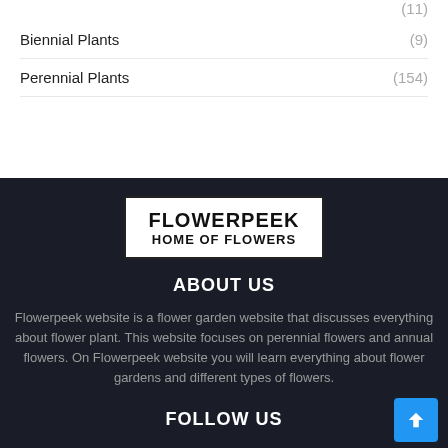(11)
Biennial Plants (9)
Perennial Plants (154)
[Figure (logo): Flowerpeek Home of Flowers logo — white background with bold black text]
ABOUT US
Flowerpeek website is a flower garden website that discusses everything about flower plant. This website focuses on perennial flowers and annual flowers. On Flowerpeek website you will learn everything about flower gardens and different types of flowers.
FOLLOW US